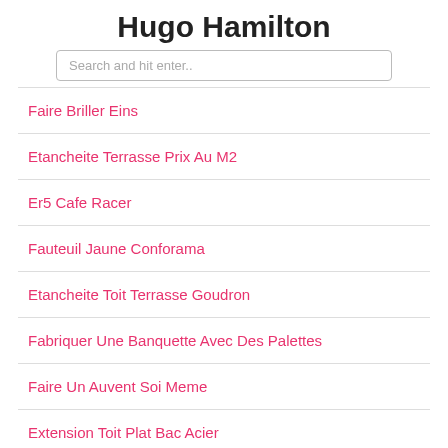Hugo Hamilton
Search and hit enter..
Faire Briller Eins
Etancheite Terrasse Prix Au M2
Er5 Cafe Racer
Fauteuil Jaune Conforama
Etancheite Toit Terrasse Goudron
Fabriquer Une Banquette Avec Des Palettes
Faire Un Auvent Soi Meme
Extension Toit Plat Bac Acier
Encik Imam Ekspress Episode 6